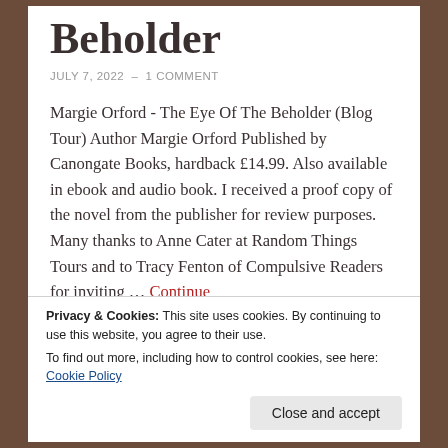Beholder
JULY 7, 2022  –  1 COMMENT
Margie Orford - The Eye Of The Beholder (Blog Tour) Author Margie Orford Published by Canongate Books, hardback £14.99. Also available in ebook and audio book. I received a proof copy of the novel from the publisher for review purposes. Many thanks to Anne Cater at Random Things Tours and to Tracy Fenton of Compulsive Readers for inviting … Continue
Privacy & Cookies: This site uses cookies. By continuing to use this website, you agree to their use.
To find out more, including how to control cookies, see here: Cookie Policy
Close and accept